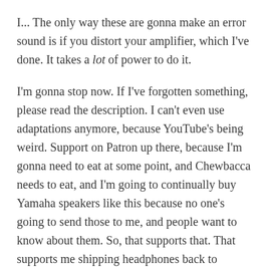I... The only way these are gonna make an error sound is if you distort your amplifier, which I've done. It takes a lot of power to do it.
I'm gonna stop now. If I've forgotten something, please read the description. I can't even use adaptations anymore, because YouTube's being weird. Support on Patron up there, because I'm gonna need to eat at some point, and Chewbacca needs to eat, and I'm going to continually buy Yamaha speakers like this because no one's going to send those to me, and people want to know about them. So, that supports that. That supports me shipping headphones back to people and pays for the cat. I'm gonna- I promise you some of that money goes toward feeding her. Wallpaper is also downloadable in the description, because Hitaru is the best. She's the best,